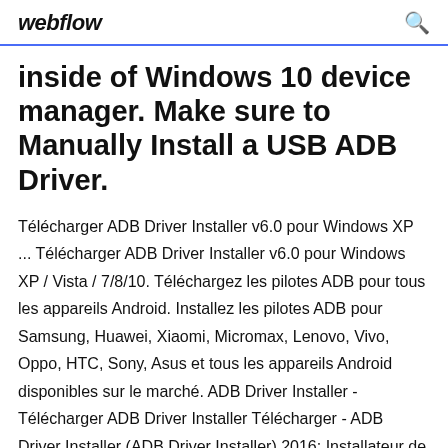webflow
inside of Windows 10 device manager. Make sure to Manually Install a USB ADB Driver.
Télécharger ADB Driver Installer v6.0 pour Windows XP ... Télécharger ADB Driver Installer v6.0 pour Windows XP / Vista / 7/8/10. Téléchargez les pilotes ADB pour tous les appareils Android. Installez les pilotes ADB pour Samsung, Huawei, Xiaomi, Micromax, Lenovo, Vivo, Oppo, HTC, Sony, Asus et tous les appareils Android disponibles sur le marché. ADB Driver Installer - Télécharger ADB Driver Installer Télécharger - ADB Driver Installer (ADB Driver Installer) 2016: Installateur de pilotes